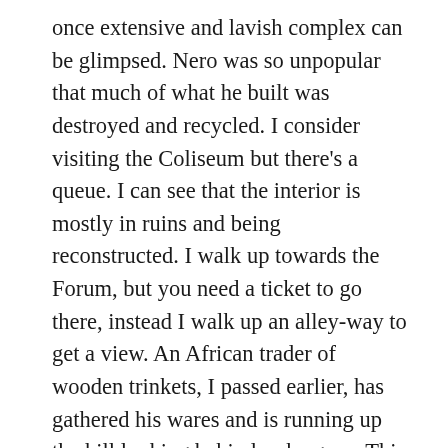once extensive and lavish complex can be glimpsed. Nero was so unpopular that much of what he built was destroyed and recycled. I consider visiting the Coliseum but there's a queue. I can see that the interior is mostly in ruins and being reconstructed. I walk up towards the Forum, but you need a ticket to go there, instead I walk up an alley-way to get a view. An African trader of wooden trinkets, I passed earlier, has gathered his wares and is running up the hill looking behind as he goes. This is a blind alley leading to a church so I'm surprised to see the young African being escorted by Police down the hill. One of them is carrying his rucksack – I didn't notice them overtake me. It all looks quite relaxed, and for